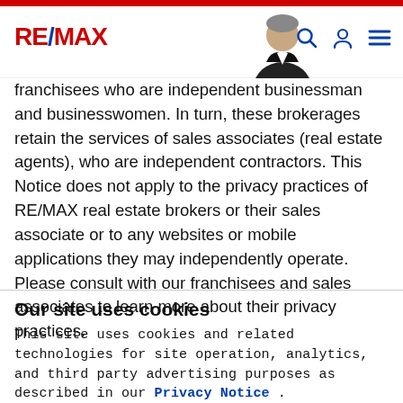RE/MAX
franchisees who are independent businessman and businesswomen. In turn, these brokerages retain the services of sales associates (real estate agents), who are independent contractors. This Notice does not apply to the privacy practices of RE/MAX real estate brokers or their sales associate or to any websites or mobile applications they may independently operate. Please consult with our franchisees and sales associates to learn more about their privacy practices.
Our site uses cookies
This site uses cookies and related technologies for site operation, analytics, and third party advertising purposes as described in our Privacy Notice .
ACCEPT